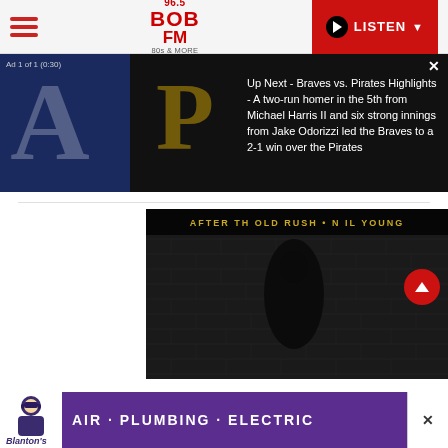[Figure (screenshot): 96.5 BOB FM radio station website header with hamburger menu, logo, and red LISTEN button]
[Figure (screenshot): Video ad overlay showing Braves vs Pirates highlights with baseball team logos on dark background. Ad label reads 'Ad 1 of 1 (0:30)' with close X button.]
Up Next - Braves vs. Pirates Highlights - A two-run homer in the 5th from Michael Harris II and six strong innings from Jake Odorizzi led the Braves to a 2-1 win over the Pirates
[Figure (photo): Black and white album cover image with text 'AFTER THE GOLD RUSH • NEIL YOUNG' at the top, showing a silhouette of a person against a brick wall]
[Figure (screenshot): Bottom advertisement banner for Blanton's Air Plumbing Electric company with white and purple background]